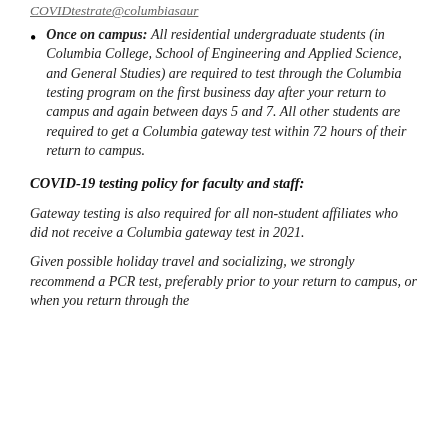COVIDtestrate@columbiasaur
Once on campus: All residential undergraduate students (in Columbia College, School of Engineering and Applied Science, and General Studies) are required to test through the Columbia testing program on the first business day after your return to campus and again between days 5 and 7. All other students are required to get a Columbia gateway test within 72 hours of their return to campus.
COVID-19 testing policy for faculty and staff:
Gateway testing is also required for all non-student affiliates who did not receive a Columbia gateway test in 2021.
Given possible holiday travel and socializing, we strongly recommend a PCR test, preferably prior to your return to campus, or when you return through the